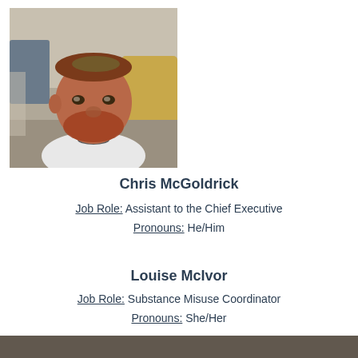[Figure (photo): A man with red hair and beard wearing a white t-shirt, photographed indoors]
Chris McGoldrick
Job Role: Assistant to the Chief Executive
Pronouns: He/Him
Louise McIvor
Job Role: Substance Misuse Coordinator
Pronouns: She/Her
[Figure (photo): Partial photo of a person, cropped at bottom of page]